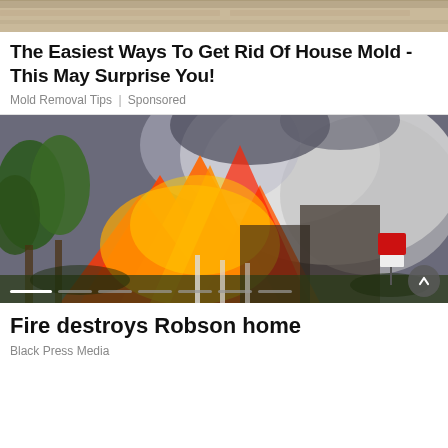[Figure (photo): Partial view of a wood floor or surface at the top of the page]
The Easiest Ways To Get Rid Of House Mold - This May Surprise You!
Mold Removal Tips | Sponsored
[Figure (photo): A house engulfed in large orange flames and thick white and gray smoke, with green trees visible on the left and a for-sale sign on the right. A carousel navigation bar and scroll button are overlaid at the bottom.]
Fire destroys Robson home
Black Press Media